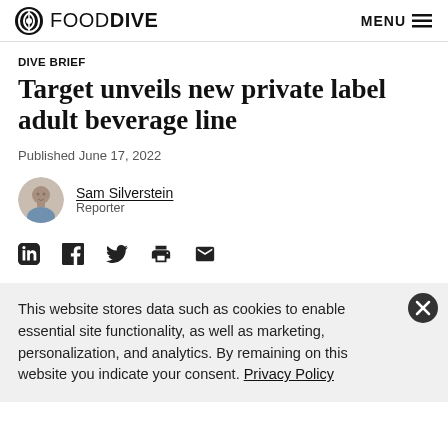FOOD DIVE  MENU
DIVE BRIEF
Target unveils new private label adult beverage line
Published June 17, 2022
Sam Silverstein
Reporter
This website stores data such as cookies to enable essential site functionality, as well as marketing, personalization, and analytics. By remaining on this website you indicate your consent. Privacy Policy